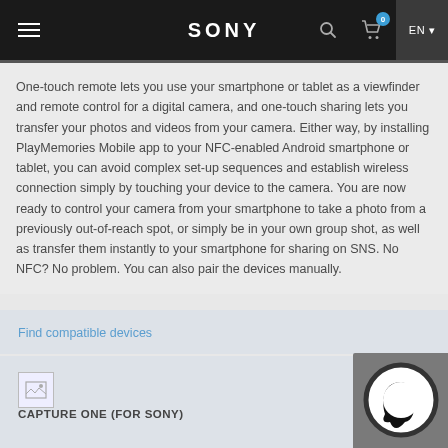SONY
One-touch remote lets you use your smartphone or tablet as a viewfinder and remote control for a digital camera, and one-touch sharing lets you transfer your photos and videos from your camera. Either way, by installing PlayMemories Mobile app to your NFC-enabled Android smartphone or tablet, you can avoid complex set-up sequences and establish wireless connection simply by touching your device to the camera. You are now ready to control your camera from your smartphone to take a photo from a previously out-of-reach spot, or simply be in your own group shot, as well as transfer them instantly to your smartphone for sharing on SNS. No NFC? No problem. You can also pair the devices manually.
Find compatible devices
CAPTURE ONE (FOR SONY)